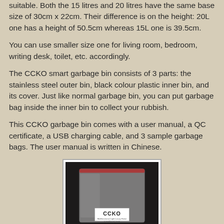suitable. Both the 15 litres and 20 litres have the same base size of 30cm x 22cm. Their difference is on the height: 20L one has a height of 50.5cm whereas 15L one is 39.5cm.
You can use smaller size one for living room, bedroom, writing desk, toilet, etc. accordingly.
The CCKO smart garbage bin consists of 3 parts: the stainless steel outer bin, black colour plastic inner bin, and its cover. Just like normal garbage bin, you can put garbage bag inside the inner bin to collect your rubbish.
This CCKO garbage bin comes with a user manual, a QC certificate, a USB charging cable, and 3 sample garbage bags. The user manual is written in Chinese.
[Figure (photo): Photo of a clear plastic zip-lock bag containing CCKO product items with a white label showing 'CCKO' brand name, placed on a dark surface.]